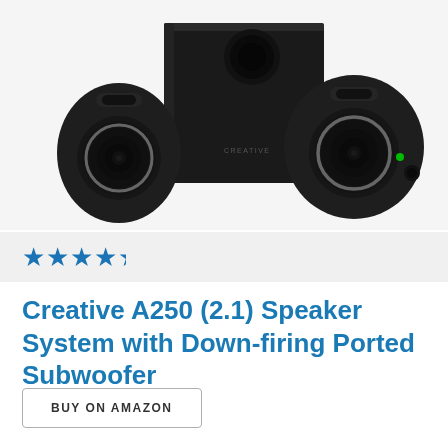[Figure (photo): Product photo of Creative A250 2.1 speaker system showing a black subwoofer in the center with two satellite speakers on either side, all in black finish with silver speaker rings.]
★★★★½
Creative A250 (2.1) Speaker System with Down-firing Ported Subwoofer
BUY ON AMAZON